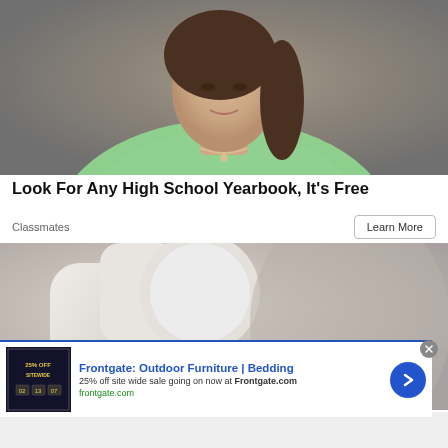[Figure (photo): Portrait photo of a young woman with brown hair pulled back, wearing a light green sweater and a delicate necklace, photographed against a neutral gray-brown background. The photo is cropped to show from the shoulders up.]
Look For Any High School Yearbook, It's Free
Classmates
Learn More
[Figure (photo): Close-up photo of what appears to be a white dental/medical device or appliance against a blurred gray background. An 'infolinks' badge is visible in the lower left corner.]
[Figure (screenshot): Frontgate advertisement banner: Frontgate: Outdoor Furniture | Bedding. 25% off site wide sale going on now at Frontgate.com. frontgate.com. Shows a thumbnail image with '25% OFF SITEWIDE' text and a blue circular arrow button.]